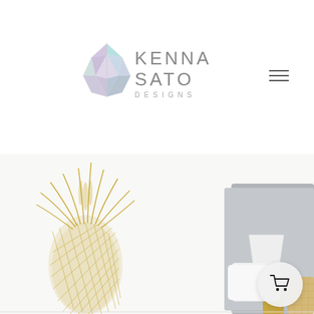[Figure (logo): Kenna Sato Designs logo with geometric gem/crystal icon in pastel blues and purples, beside the text KENNA SATO DESIGNS]
[Figure (other): Hamburger menu icon (three horizontal lines) in the top right corner]
[Figure (photo): Decorative lifestyle photo showing a large gold metallic pineapple wall art on the left, and a bedroom vignette on the right with a gray upholstered headboard, white lamp, white pillow, and a woven basket]
[Figure (other): Circular shopping cart button overlay in light gray, positioned bottom right of the photo]